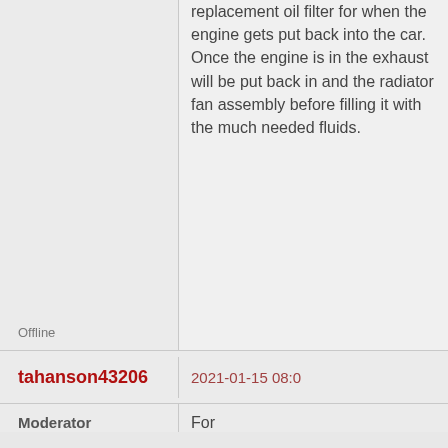replacement oil filter for when the engine gets put back into the car. Once the engine is in the exhaust will be put back in and the radiator fan assembly before filling it with the much needed fluids.
Offline
tahanson43206
2021-01-15 08:0
Moderator
For